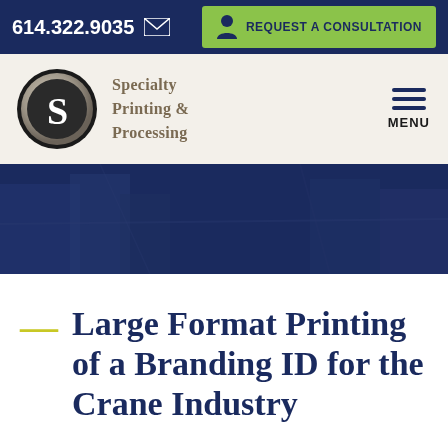614.322.9035  REQUEST A CONSULTATION
[Figure (logo): Specialty Printing & Processing logo with circular S emblem and navigation menu]
[Figure (photo): Dark navy blue toned aerial/industrial photograph used as hero banner]
Large Format Printing of a Branding ID for the Crane Industry